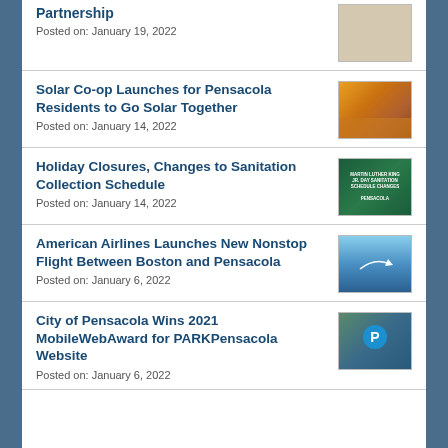Partnership
Posted on: January 19, 2022
Solar Co-op Launches for Pensacola Residents to Go Solar Together
Posted on: January 14, 2022
Holiday Closures, Changes to Sanitation Collection Schedule
Posted on: January 14, 2022
American Airlines Launches New Nonstop Flight Between Boston and Pensacola
Posted on: January 6, 2022
City of Pensacola Wins 2021 MobileWebAward for PARKPensacola Website
Posted on: January 6, 2022